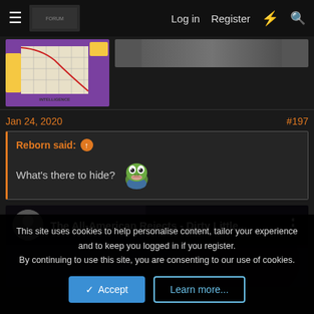Log in   Register
[Figure (screenshot): Happiness vs Intelligence graph meme from The Simpsons showing declining curve]
[Figure (photo): Partial photo visible at top right]
Jan 24, 2020
#197
Reborn said: ↑
What's there to hide?
[Figure (illustration): Pepe the frog emoji]
[Figure (screenshot): YouTube embed: The All-American Rejects - Dirty Little...]
This site uses cookies to help personalise content, tailor your experience and to keep you logged in if you register.
By continuing to use this site, you are consenting to our use of cookies.
Accept
Learn more...